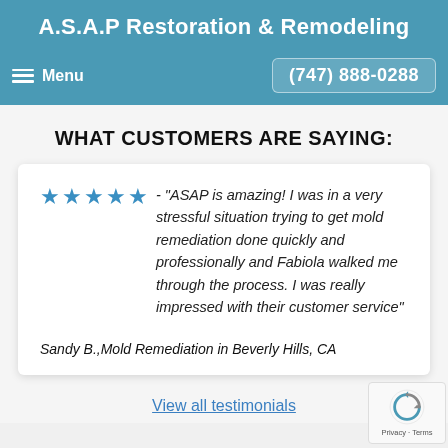A.S.A.P Restoration & Remodeling
Menu  (747) 888-0288
WHAT CUSTOMERS ARE SAYING:
★★★★★ - "ASAP is amazing! I was in a very stressful situation trying to get mold remediation done quickly and professionally and Fabiola walked me through the process. I was really impressed with their customer service"
Sandy B.,Mold Remediation in Beverly Hills, CA
View all testimonials